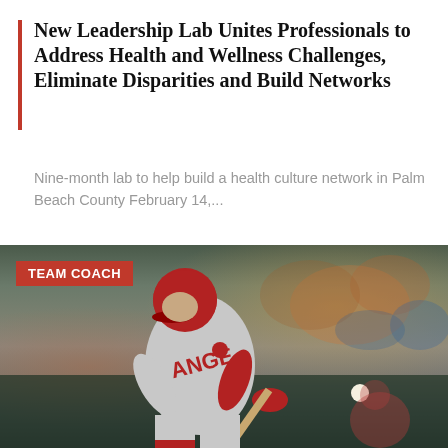New Leadership Lab Unites Professionals to Address Health and Wellness Challenges, Eliminate Disparities and Build Networks
Nine-month lab to help build a health culture network in Palm Beach County February 14,...
[Figure (photo): Baseball player in a gray Angels uniform and red helmet swinging a bat, with a blurred stadium crowd in the background. A red 'TEAM COACH' label badge appears in the upper left corner of the photo.]